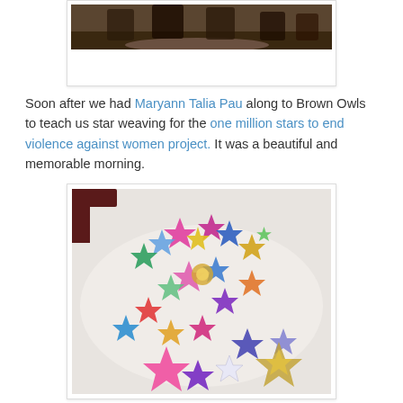[Figure (photo): Partial top photo showing people in a room, only the bottom portion visible]
Soon after we had Maryann Talia Pau along to Brown Owls to teach us star weaving for the one million stars to end violence against women project. It was a beautiful and memorable morning.
[Figure (photo): Photo of many colorful handmade woven paper stars arranged on a white table, in various sizes and colors including pink, blue, yellow, green, purple, and multicolored patterns]